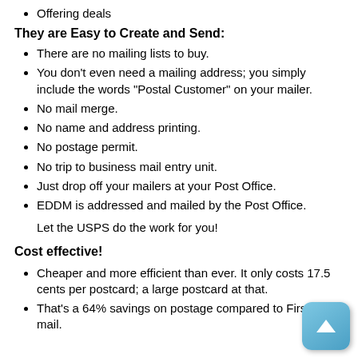Offering deals
They are Easy to Create and Send:
There are no mailing lists to buy.
You don't even need a mailing address; you simply include the words "Postal Customer" on your mailer.
No mail merge.
No name and address printing.
No postage permit.
No trip to business mail entry unit.
Just drop off your mailers at your Post Office.
EDDM is addressed and mailed by the Post Office.
Let the USPS do the work for you!
Cost effective!
Cheaper and more efficient than ever. It only costs 17.5 cents per postcard; a large postcard at that.
That's a 64% savings on postage compared to First Class mail.